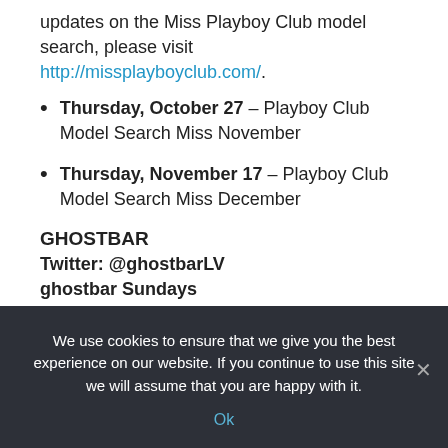updates on the Miss Playboy Club model search, please visit http://missplayboyclub.com/.
Thursday, October 27 – Playboy Club Model Search Miss November
Thursday, November 17 – Playboy Club Model Search Miss December
GHOSTBAR
Twitter: @ghostbarLV
ghostbar Sundays
Ongoing – Every Sunday at 10 p.m.
ghostbar hosts a new level of diverse nightlife music and
We use cookies to ensure that we give you the best experience on our website. If you continue to use this site we will assume that you are happy with it. Ok